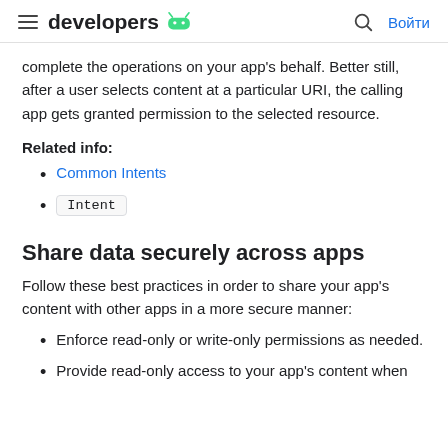developers [android logo] | [search] Войти
complete the operations on your app's behalf. Better still, after a user selects content at a particular URI, the calling app gets granted permission to the selected resource.
Related info:
Common Intents
Intent
Share data securely across apps
Follow these best practices in order to share your app's content with other apps in a more secure manner:
Enforce read-only or write-only permissions as needed.
Provide read-only access to your app's content when...